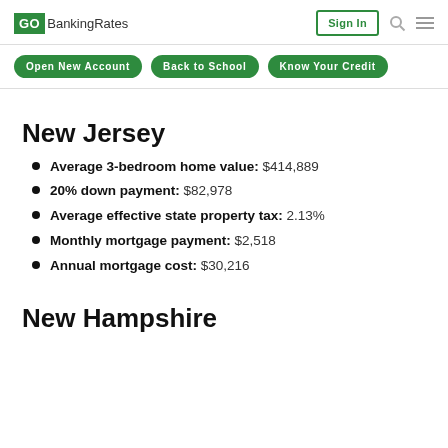GOBankingRates | Sign In
Open New Account | Back to School | Know Your Credit
New Jersey
Average 3-bedroom home value: $414,889
20% down payment: $82,978
Average effective state property tax: 2.13%
Monthly mortgage payment: $2,518
Annual mortgage cost: $30,216
New Hampshire